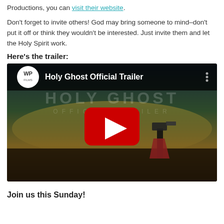Productions, you can visit their website.
Don't forget to invite others! God may bring someone to mind–don't put it off or think they wouldn't be interested. Just invite them and let the Holy Spirit work.
Here's the trailer:
[Figure (screenshot): YouTube video embed showing 'Holy Ghost Official Trailer' with WP Films logo and red play button overlay on a cinematic scene of a person looking through a camera at a scenic landscape]
Join us this Sunday!